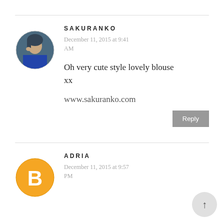[Figure (photo): Circular avatar photo of Sakuranko, a person posing against a green background]
SAKURANKO
December 11, 2015 at 9:41 AM
Oh very cute style lovely blouse
xx

www.sakuranko.com
[Figure (logo): Circular orange Blogger 'B' logo avatar for Adria]
ADRIA
December 11, 2015 at 9:57 PM